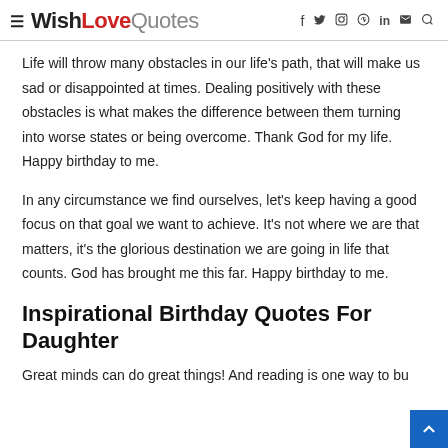≡ WishLoveQuotes  f  𝕏  ○  ⊕  in  ✉  🔍
Life will throw many obstacles in our life's path, that will make us sad or disappointed at times. Dealing positively with these obstacles is what makes the difference between them turning into worse states or being overcome. Thank God for my life. Happy birthday to me.
In any circumstance we find ourselves, let's keep having a good focus on that goal we want to achieve. It's not where we are that matters, it's the glorious destination we are going in life that counts. God has brought me this far. Happy birthday to me.
Inspirational Birthday Quotes For Daughter
Great minds can do great things! And reading is one way to bu